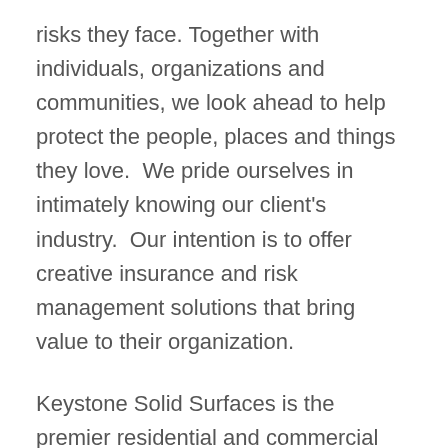risks they face. Together with individuals, organizations and communities, we look ahead to help protect the people, places and things they love.  We pride ourselves in intimately knowing our client's industry.  Our intention is to offer creative insurance and risk management solutions that bring value to their organization.
Keystone Solid Surfaces is the premier residential and commercial fabricator and installer of Quartz, Granite, and Solid Surfaces in Kansas. Keystone's state of the art fabrication facility, showroom, and great employees are why they have experienced tremendous growth in our industry. They serve the best customers and enjoy the team-oriented approach that